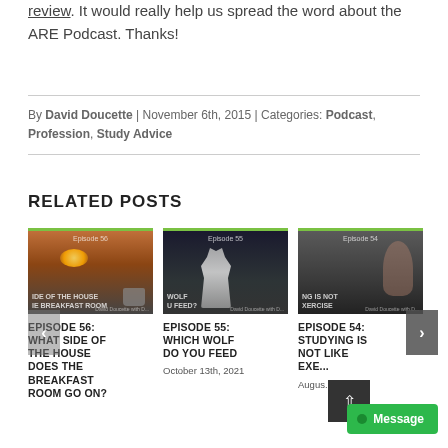review. It would really help us spread the word about the ARE Podcast. Thanks!
By David Doucette | November 6th, 2015 | Categories: Podcast, Profession, Study Advice
RELATED POSTS
[Figure (photo): Thumbnail image for Episode 56: What Side of the House Does the Breakfast Room Go On? - shows sunset with coffee cup]
EPISODE 56: WHAT SIDE OF THE HOUSE DOES THE BREAKFAST ROOM GO ON?
[Figure (photo): Thumbnail image for Episode 55: Which Wolf Do You Feed - shows a howling wolf silhouette]
EPISODE 55: WHICH WOLF DO YOU FEED
October 13th, 2021
[Figure (photo): Thumbnail image for Episode 54: Studying Is Not Like Exercise - shows person exercising]
EPISODE 54: STUDYING IS NOT LIKE EXE...
August...